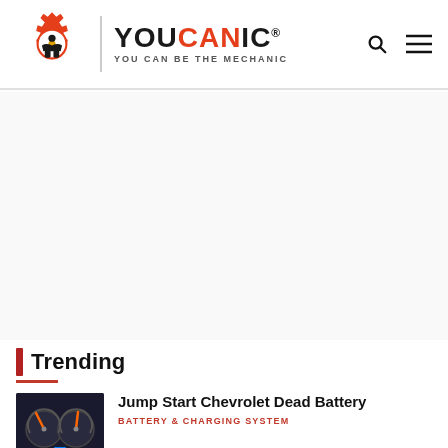[Figure (logo): YOUCANIC logo with gear/wrench icon and tagline YOU CAN BE THE MECHANIC]
[Figure (other): Advertisement / blank white space area]
Trending
[Figure (photo): Thumbnail photo of a car dashboard/gauges with orange needle]
Jump Start Chevrolet Dead Battery
BATTERY & CHARGING SYSTEM